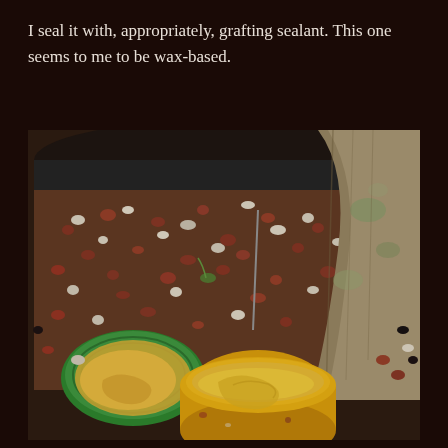I seal it with, appropriately, grafting sealant. This one seems to me to be wax-based.
[Figure (photo): A close-up photograph of an open jar of yellow/gold grafting sealant with a green lid beside it, placed in a plant pot filled with reddish-brown gravel/grit mix. A tree trunk is visible in the background-right of the image.]